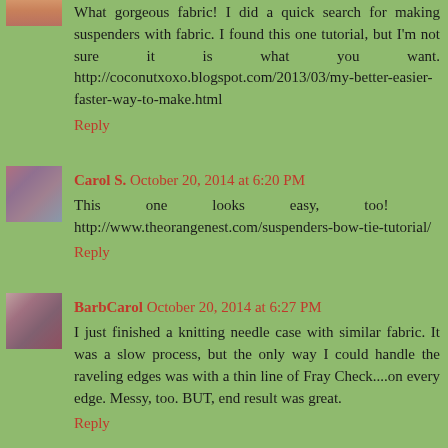What gorgeous fabric! I did a quick search for making suspenders with fabric. I found this one tutorial, but I'm not sure it is what you want. http://coconutxoxo.blogspot.com/2013/03/my-better-easier-faster-way-to-make.html
Reply
Carol S. October 20, 2014 at 6:20 PM
This one looks easy, too! http://www.theorangenest.com/suspenders-bow-tie-tutorial/
Reply
BarbCarol October 20, 2014 at 6:27 PM
I just finished a knitting needle case with similar fabric. It was a slow process, but the only way I could handle the raveling edges was with a thin line of Fray Check....on every edge. Messy, too. BUT, end result was great.
Reply